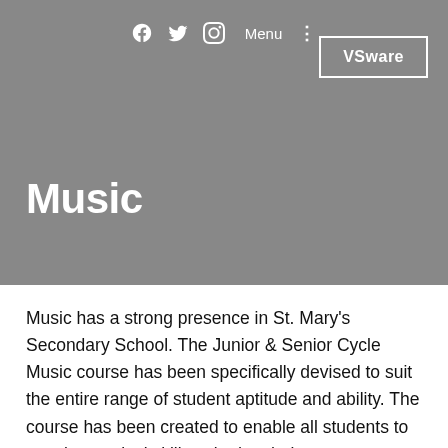Facebook Twitter Instagram Menu ⋮ VSware
Music
Music has a strong presence in St. Mary's Secondary School. The Junior & Senior Cycle Music course has been specifically devised to suit the entire range of student aptitude and ability. The course has been created to enable all students to acquire musical skills suited to their